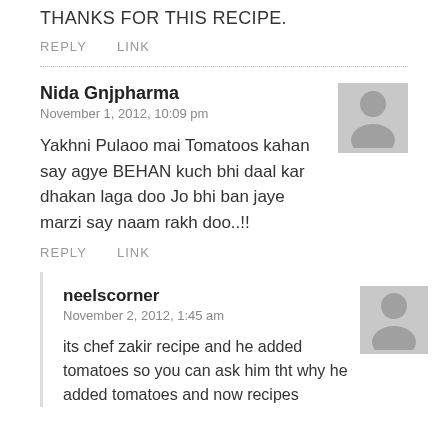THANKS FOR THIS RECIPE.
REPLY   LINK
Nida Gnjpharma
November 1, 2012, 10:09 pm
Yakhni Pulaoo mai Tomatoos kahan say agye BEHAN kuch bhi daal kar dhakan laga doo Jo bhi ban jaye marzi say naam rakh doo..!!
REPLY   LINK
neelscorner
November 2, 2012, 1:45 am
its chef zakir recipe and he added tomatoes so you can ask him tht why he added tomatoes and now recipes